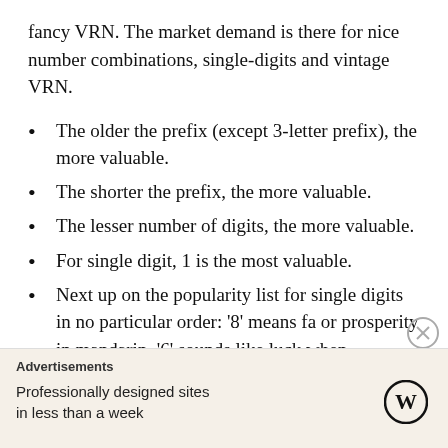fancy VRN. The market demand is there for nice number combinations, single-digits and vintage VRN.
The older the prefix (except 3-letter prefix), the more valuable.
The shorter the prefix, the more valuable.
The lesser number of digits, the more valuable.
For single digit, 1 is the most valuable.
Next up on the popularity list for single digits in no particular order: ‘8’ means fa or prosperity in mandarin, ‘6’ sounds like luck when pronounced in dialect, ‘7’ for lucky seven, ’9’ for longevity in mandarin, ‘3’ for life in mandarin.
4 is the least valuable, since it means “die” in
[Figure (infographic): Advertisement banner: 'Advertisements' label, text 'Professionally designed sites in less than a week', WordPress logo. Close button (X in circle) on right side.]